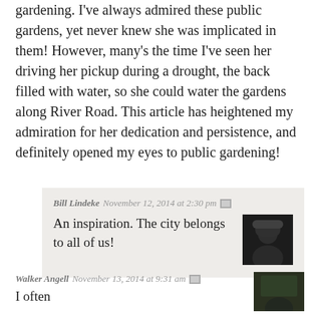gardening. I've always admired these public gardens, yet never knew she was implicated in them! However, many's the time I've seen her driving her pickup during a drought, the back filled with water, so she could water the gardens along River Road. This article has heightened my admiration for her dedication and persistence, and definitely opened my eyes to public gardening!
Bill Lindeke  November 12, 2014 at 2:30 pm
An inspiration. The city belongs to all of us!
Walker Angell  November 13, 2014 at 9:31 am
I often...